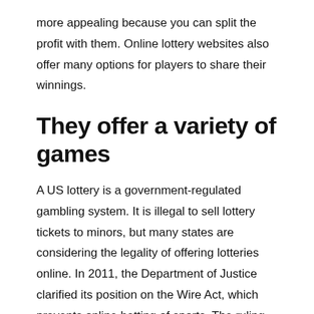more appealing because you can split the profit with them. Online lottery websites also offer many options for players to share their winnings.
They offer a variety of games
A US lottery is a government-regulated gambling system. It is illegal to sell lottery tickets to minors, but many states are considering the legality of offering lotteries online. In 2011, the Department of Justice clarified its position on the Wire Act, which prevents online betting of sports. The ruling